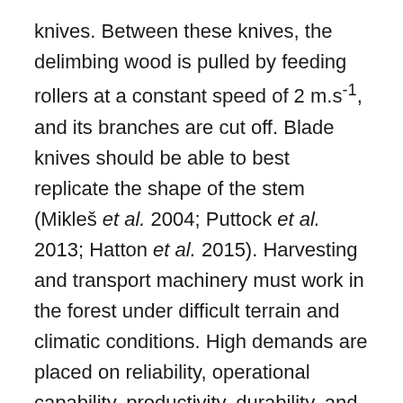knives. Between these knives, the delimbing wood is pulled by feeding rollers at a constant speed of 2 m.s⁻¹, and its branches are cut off. Blade knives should be able to best replicate the shape of the stem (Mikleš et al. 2004; Puttock et al. 2013; Hatton et al. 2015). Harvesting and transport machinery must work in the forest under difficult terrain and climatic conditions. High demands are placed on reliability, operational capability, productivity, durability, and economic efficiency. In operation LH (Forestry, machines working the day in the forest) working today, harvesting-transport machines have experienced developmental shifts from simple to complex machines using a greater range of automation components from computer technology. Harvesting-transport machines can be classified according to different points of view, where one of the main criteria is the number of